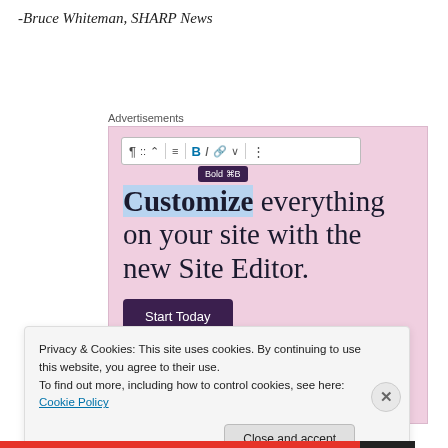-Bruce Whiteman, SHARP News
Advertisements
[Figure (screenshot): WordPress site editor advertisement showing a toolbar with Bold (⌘B) tooltip, headline 'Customize everything on your site with the new Site Editor.' with 'Customize' highlighted in blue, and a dark purple 'Start Today' button. Pink/mauve background.]
Privacy & Cookies: This site uses cookies. By continuing to use this website, you agree to their use.
To find out more, including how to control cookies, see here: Cookie Policy
Close and accept